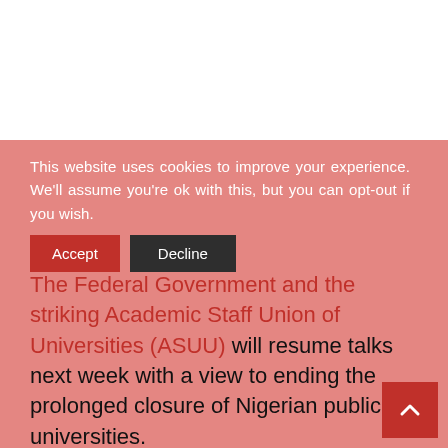This website uses cookies to improve your experience. We'll assume you're ok with this, but you can opt-out if you wish.
The Federal Government and the striking Academic Staff Union of Universities (ASUU) will resume talks next week with a view to ending the prolonged closure of Nigerian public universities.